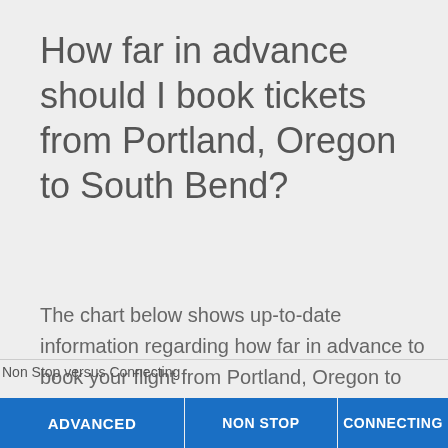How far in advance should I book tickets from Portland, Oregon to South Bend?
The chart below shows up-to-date information regarding how far in advance to book your flight from Portland, Oregon to South Bend.
Non Stop versus Connecting
ADVANCED
NON STOP
CONNECTING